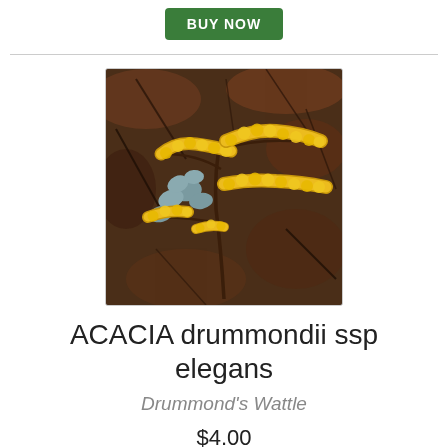BUY NOW
[Figure (photo): Close-up photo of Acacia drummondii ssp elegans (Drummond's Wattle) showing bright yellow cylindrical fluffy flower spikes with small grey-green leaves against a blurred brown/dark background]
ACACIA drummondii ssp elegans
Drummond's Wattle
$4.00